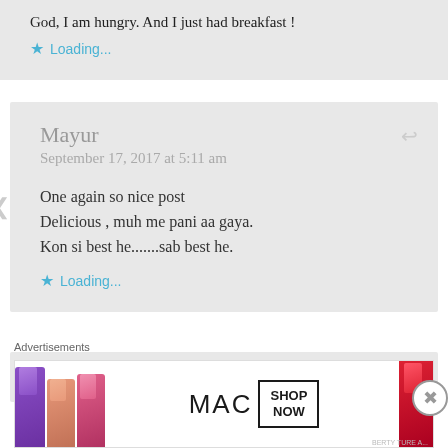God, I am hungry. And I just had breakfast !
Loading...
Mayur
September 17, 2017 at 5:11 am
One again so nice post
Delicious , muh me pani aa gaya.
Kon si best he.......sab best he.
Loading...
Advertisements
[Figure (photo): MAC cosmetics advertisement banner showing lipsticks with MAC logo and SHOP NOW button]